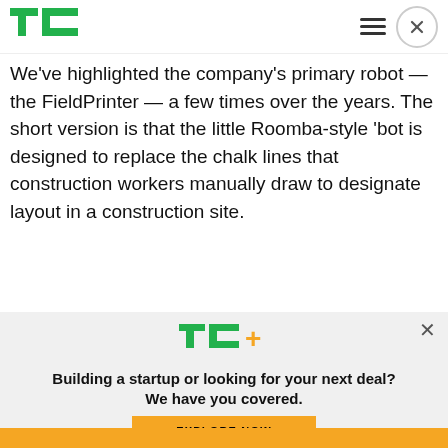TechCrunch logo with hamburger menu and close button
We've highlighted the company's primary robot — the FieldPrinter — a few times over the years. The short version is that the little Roomba-style 'bot is designed to replace the chalk lines that construction workers manually draw to designate layout in a construction site.
FieldPrinter will...
[Figure (logo): TechCrunch TC+ logo in green and yellow]
Building a startup or looking for your next deal? We have you covered.
EXPLORE NOW